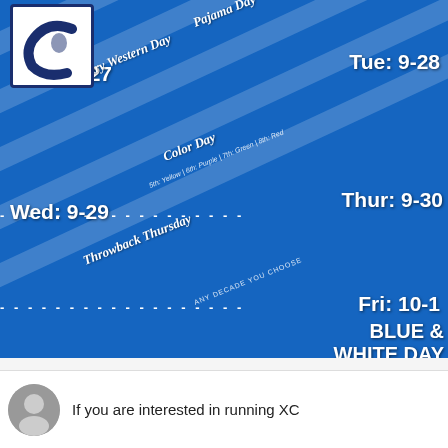[Figure (infographic): Blue school spirit week schedule banner with diagonal white stripe bands. Shows a school logo (letter C with a knight/Spartan mascot) in the top left. Lists five spirit week days: Mon 9-27 Country Western Day, Tue 9-28 Pajama Day, Wed 9-29 Color Day (5th: Yellow, 6th: Purple, 7th: Green, 8th: Red), Thur 9-30 Throwback Thursday (Any Decade You Choose), Fri 10-1 Blue & White Day.]
If you are interested in running XC